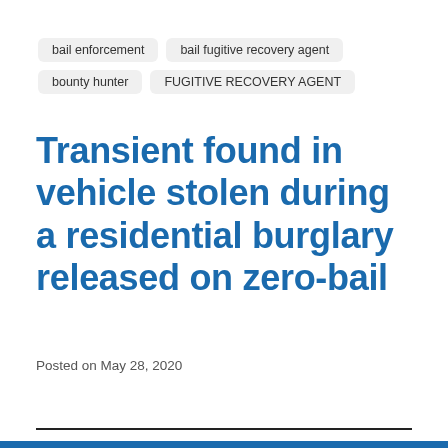bail enforcement
bail fugitive recovery agent
bounty hunter
FUGITIVE RECOVERY AGENT
Transient found in vehicle stolen during a residential burglary released on zero-bail
Posted on May 28, 2020